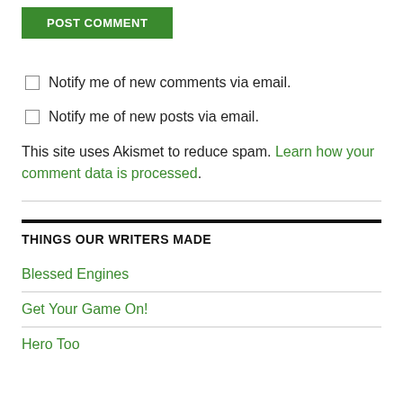POST COMMENT
Notify me of new comments via email.
Notify me of new posts via email.
This site uses Akismet to reduce spam. Learn how your comment data is processed.
THINGS OUR WRITERS MADE
Blessed Engines
Get Your Game On!
Hero Too